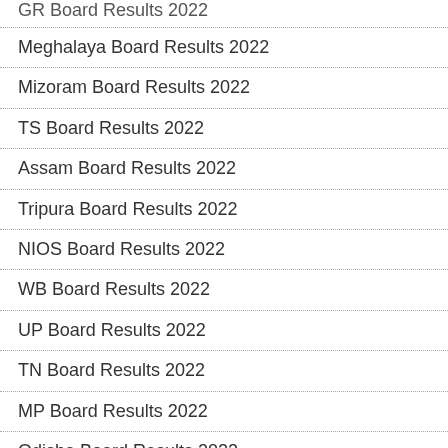GR Board Results 2022
Meghalaya Board Results 2022
Mizoram Board Results 2022
TS Board Results 2022
Assam Board Results 2022
Tripura Board Results 2022
NIOS Board Results 2022
WB Board Results 2022
UP Board Results 2022
TN Board Results 2022
MP Board Results 2022
Odisha Board Results 2022